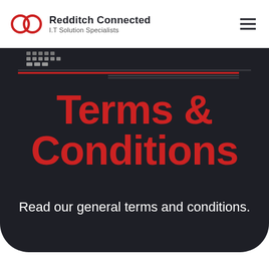Redditch Connected I.T Solution Specialists
Terms & Conditions
Read our general terms and conditions.